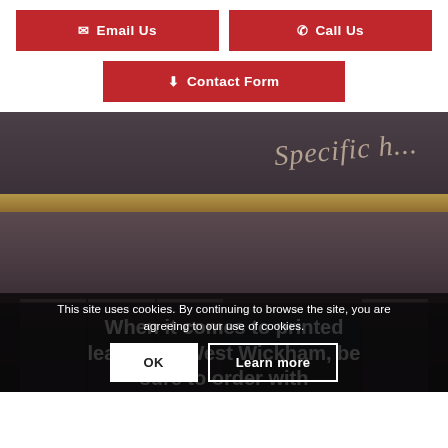✉ Email Us
✆ Call Us
⬇ Contact Form
[Figure (photo): Interior shelf photo with italic text 'Specific h...' on a wooden shelf with white dividers, dark moody lighting]
When it comes to printed leaflets in West Wickham, be sure to order with Cherrill Print today. Our
This site uses cookies. By continuing to browse the site, you are agreeing to our use of cookies.
OK
Learn more